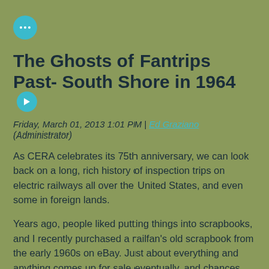[Figure (other): Teal circular icon with three white dots (ellipsis/menu icon)]
The Ghosts of Fantrips Past- South Shore in 1964 →
Friday, March 01, 2013 1:01 PM | Ed Graziano (Administrator)
As CERA celebrates its 75th anniversary, we can look back on a long, rich history of inspection trips on electric railways all over the United States, and even some in foreign lands.
Years ago, people liked putting things into scrapbooks, and I recently purchased a railfan's old scrapbook from the early 1960s on eBay. Just about everything and anything comes up for sale eventually, and chances are the original scrapbook owner is no longer with us, but his mementos fortunately remain.